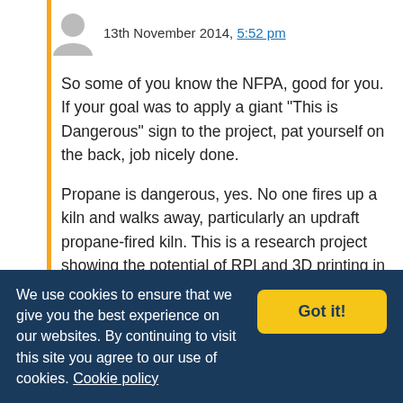13th November 2014, 5:52 pm
So some of you know the NFPA, good for you. If your goal was to apply a giant “This is Dangerous” sign to the project, pat yourself on the back, job nicely done.

Propane is dangerous, yes. No one fires up a kiln and walks away, particularly an updraft propane-fired kiln. This is a research project showing the potential of RPI and 3D printing in repurposing and resurrecting an old kiln. It’s not going to get sold, marketed,
We use cookies to ensure that we give you the best experience on our websites. By continuing to visit this site you agree to our use of cookies. Cookie policy